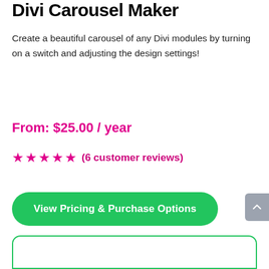Divi Carousel Maker
Create a beautiful carousel of any Divi modules by turning on a switch and adjusting the design settings!
From: $25.00 / year
★★★★★ (6 customer reviews)
View Pricing & Purchase Options